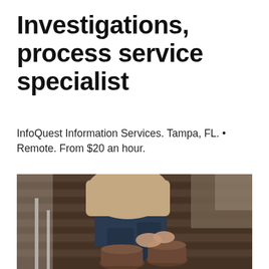Investigations, process service specialist
InfoQuest Information Services. Tampa, FL. • Remote. From $20 an hour.
[Figure (photo): A person sitting on a stool or chair on a wooden floor, wearing dark jeans and brown ankle boots, putting on or adjusting a boot. They are wearing a light beige/tan knit cardigan. The setting appears to be an indoor space with wooden plank flooring.]